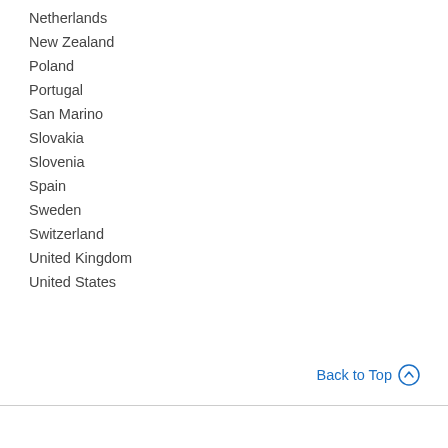Netherlands
New Zealand
Poland
Portugal
San Marino
Slovakia
Slovenia
Spain
Sweden
Switzerland
United Kingdom
United States
Back to Top